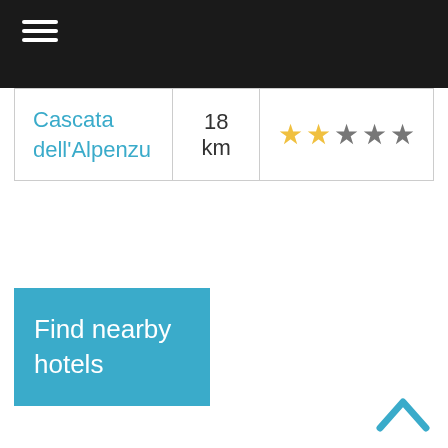Navigation header with hamburger menu icons
| Name | Distance | Rating |
| --- | --- | --- |
| Cascata dell'Alpenzu | 18 km | 2 out of 5 stars |
Find nearby hotels
[Figure (other): Back to top chevron arrow button]